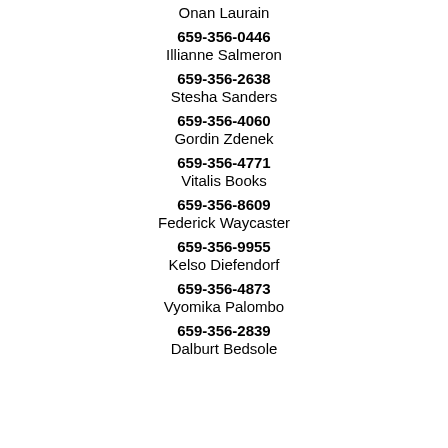Onan Laurain
659-356-0446
Illianne Salmeron
659-356-2638
Stesha Sanders
659-356-4060
Gordin Zdenek
659-356-4771
Vitalis Books
659-356-8609
Federick Waycaster
659-356-9955
Kelso Diefendorf
659-356-4873
Vyomika Palombo
659-356-2839
Dalburt Bedsole